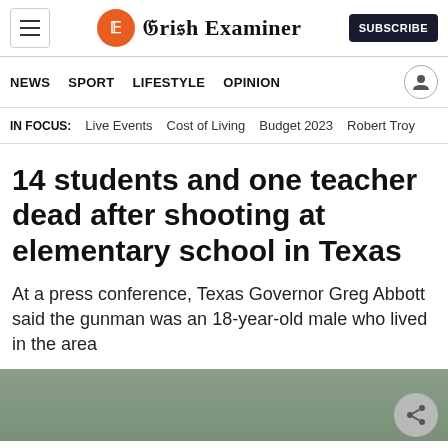Irish Examiner — SUBSCRIBE
NEWS  SPORT  LIFESTYLE  OPINION
IN FOCUS:  Live Events  Cost of Living  Budget 2023  Robert Troy
14 students and one teacher dead after shooting at elementary school in Texas
At a press conference, Texas Governor Greg Abbott said the gunman was an 18-year-old male who lived in the area
[Figure (photo): Partial photo of a person, partially visible at bottom of page]